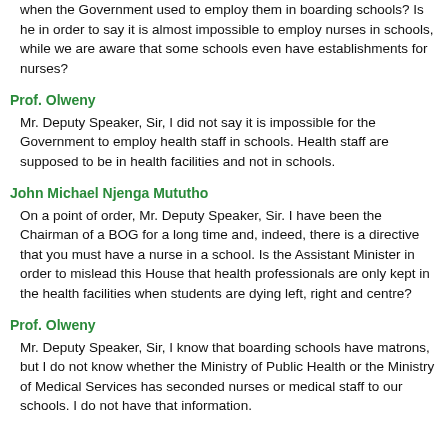when the Government used to employ them in boarding schools? Is he in order to say it is almost impossible to employ nurses in schools, while we are aware that some schools even have establishments for nurses?
Prof. Olweny
Mr. Deputy Speaker, Sir, I did not say it is impossible for the Government to employ health staff in schools. Health staff are supposed to be in health facilities and not in schools.
John Michael Njenga Mututho
On a point of order, Mr. Deputy Speaker, Sir. I have been the Chairman of a BOG for a long time and, indeed, there is a directive that you must have a nurse in a school. Is the Assistant Minister in order to mislead this House that health professionals are only kept in the health facilities when students are dying left, right and centre?
Prof. Olweny
Mr. Deputy Speaker, Sir, I know that boarding schools have matrons, but I do not know whether the Ministry of Public Health or the Ministry of Medical Services has seconded nurses or medical staff to our schools. I do not have that information.